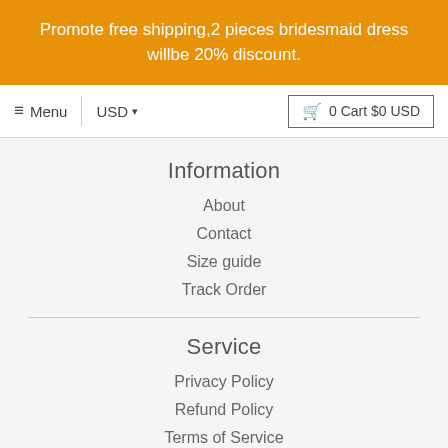Promote free shipping,2 pieces bridesmaid dress willbe 20% discount.
≡ Menu  |  USD ▾  |  🛒 0 Cart $0 USD
Information
About
Contact
Size guide
Track Order
Service
Privacy Policy
Refund Policy
Terms of Service
Account